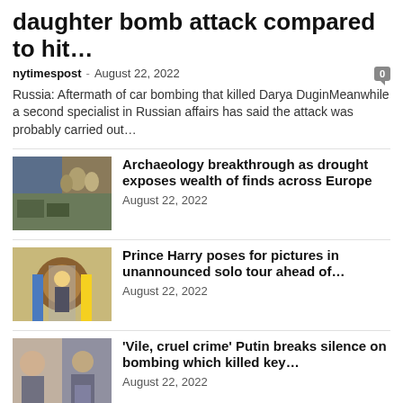daughter bomb attack compared to hit…
nytimespost - August 22, 2022
Russia: Aftermath of car bombing that killed Darya DuginMeanwhile a second specialist in Russian affairs has said the attack was probably carried out…
[Figure (photo): Archaeology news thumbnail showing stone artifacts and archaeological finds]
Archaeology breakthrough as drought exposes wealth of finds across Europe
August 22, 2022
[Figure (photo): Prince Harry posing in front of a decorative emblem with flags]
Prince Harry poses for pictures in unannounced solo tour ahead of…
August 22, 2022
[Figure (photo): Putin and a woman looking serious]
'Vile, cruel crime' Putin breaks silence on bombing which killed key…
August 22, 2022
[Figure (photo): A white bulldog on a leash]
Two youngsters rushed to hospital after vicious afternoon attack by trio…
August 22, 2022